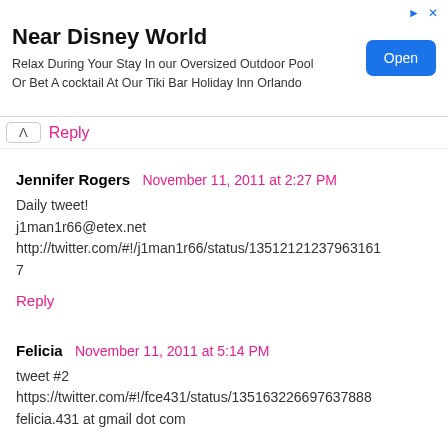[Figure (screenshot): Advertisement banner for Near Disney World / Holiday Inn Orlando with an Open button]
Reply
Jennifer Rogers  November 11, 2011 at 2:27 PM
Daily tweet!
j1man1r66@etex.net
http://twitter.com/#!/j1man1r66/status/13512121237963161 7
Reply
Felicia  November 11, 2011 at 5:14 PM
tweet #2
https://twitter.com/#!/fce431/status/135163226697637888
felicia.431 at gmail dot com